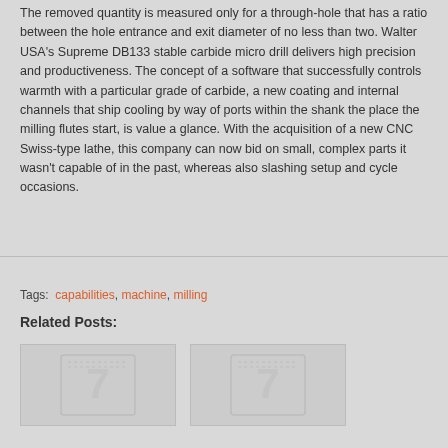The removed quantity is measured only for a through-hole that has a ratio between the hole entrance and exit diameter of no less than two. Walter USA's Supreme DB133 stable carbide micro drill delivers high precision and productiveness. The concept of a software that successfully controls warmth with a particular grade of carbide, a new coating and internal channels that ship cooling by way of ports within the shank the place the milling flutes start, is value a glance. With the acquisition of a new CNC Swiss-type lathe, this company can now bid on small, complex parts it wasn't capable of in the past, whereas also slashing setup and cycle occasions.
Tags: capabilities, machine, milling
Related Posts:
[Figure (other): Thumbnail image placeholder with a stylized number 7 icon]
[Figure (other): Thumbnail image placeholder with a stylized number 7 icon]